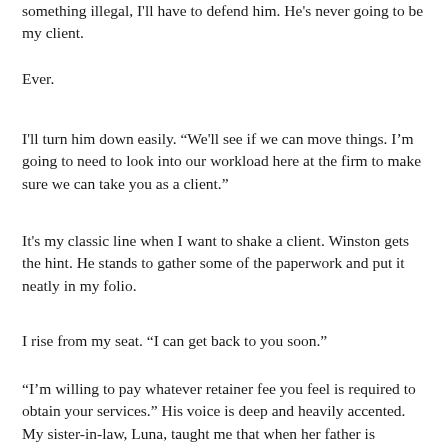something illegal, I'll have to defend him. He's never going to be my client.
Ever.
I'll turn him down easily. “We'll see if we can move things. I'm going to need to look into our workload here at the firm to make sure we can take you as a client.”
It's my classic line when I want to shake a client. Winston gets the hint. He stands to gather some of the paperwork and put it neatly in my folio.
I rise from my seat. “I can get back to you soon.”
“I’m willing to pay whatever retainer fee you feel is required to obtain your services.” His voice is deep and heavily accented. My sister-in-law, Luna, taught me that when her father is flustered or angry, his almost perfect enunciation goes out the window and his accent